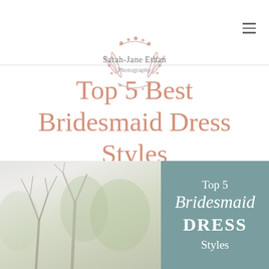Sarah-Jane Ethan Photography
Top 5 Best Bridesmaid Dress Styles
[Figure (photo): Outdoor scene with bare tree branches in winter/early spring, soft light, with overlaid teal box reading 'Top 5 Bridesmaid DRESS Styles']